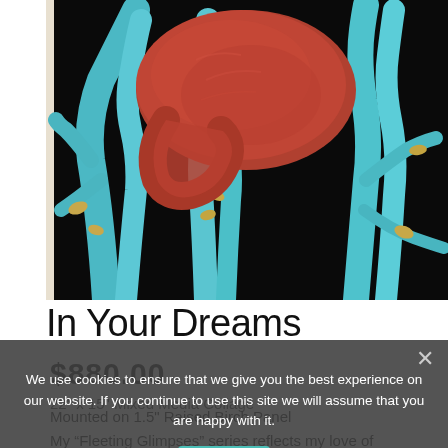[Figure (photo): Mixed media collage artwork titled 'In Your Dreams' showing a large red/brown organic form surrounded by turquoise blue tree-like branches against a dark black background. Small golden leaf-like shapes are visible among the branches.]
In Your Dreams
$880.00
22" x 15" Mixed Media Collage
Mounted on 1.5" Raised Birch Panel
My “Fleeting Glimpses” series reflects my love of
We use cookies to ensure that we give you the best experience on our website. If you continue to use this site we will assume that you are happy with it.